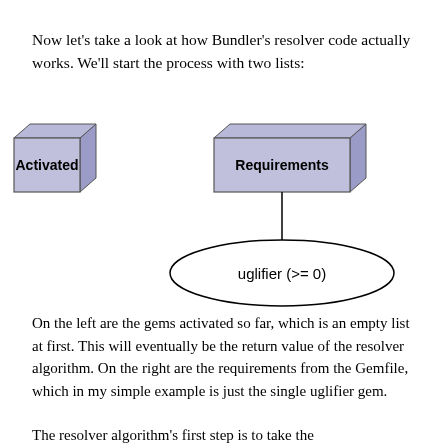Now let's take a look at how Bundler's resolver code actually works. We'll start the process with two lists:
[Figure (flowchart): Two boxes labeled 'Activated' (left, 3D blue-purple rectangle) and 'Requirements' (right, 3D blue-purple rectangle) with a vertical line descending from Requirements to an oval labeled 'uglifier (>= 0)']
On the left are the gems activated so far, which is an empty list at first. This will eventually be the return value of the resolver algorithm. On the right are the requirements from the Gemfile, which in my simple example is just the single uglifier gem.
The resolver algorithm's first step is to take the